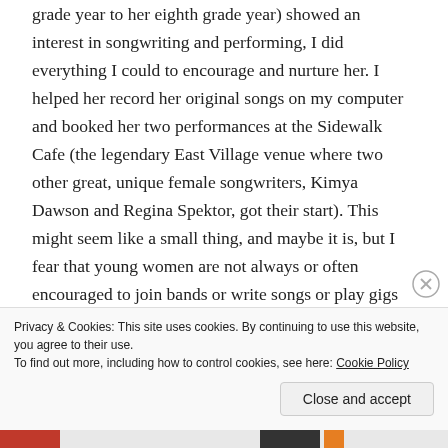grade year to her eighth grade year) showed an interest in songwriting and performing, I did everything I could to encourage and nurture her. I helped her record her original songs on my computer and booked her two performances at the Sidewalk Cafe (the legendary East Village venue where two other great, unique female songwriters, Kimya Dawson and Regina Spektor, got their start). This might seem like a small thing, and maybe it is, but I fear that young women are not always or often encouraged to join bands or write songs or play gigs (or even play the guitar) the way that boys are. That's why projects like Girls Rock Camp are so vital and
Privacy & Cookies: This site uses cookies. By continuing to use this website, you agree to their use.
To find out more, including how to control cookies, see here: Cookie Policy
Close and accept